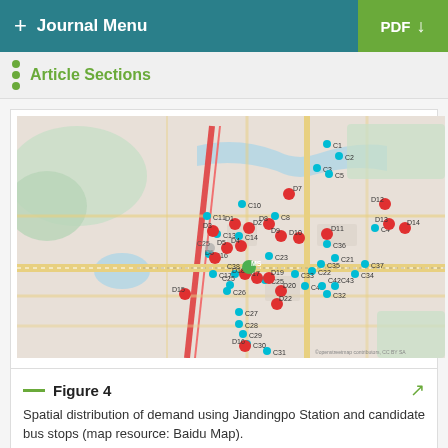+ Journal Menu | PDF ↓
Article Sections
[Figure (map): Spatial distribution map showing Jiandingpo Station and candidate bus stops labeled C1–C31 (cyan dots) and D1–D16 (red dots) overlaid on a street map of the area, with a green marker labeled MS.]
Figure 4
Spatial distribution of demand using Jiandingpo Station and candidate bus stops (map resource: Baidu Map).